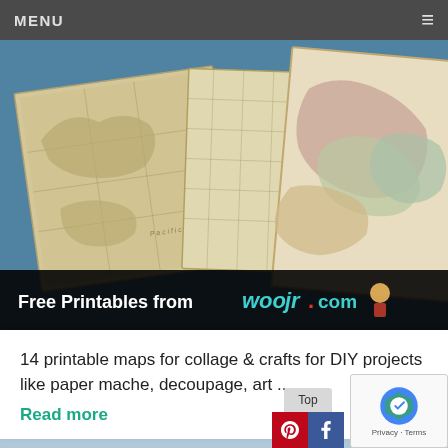MENU
[Figure (photo): Hero image showing vintage/antique printable maps spread out on a blue background, with a black banner overlay reading 'Free Printables from WooJr.com']
14 printable maps for collage & crafts for DIY projects like paper mache, decoupage, art ...
Read more